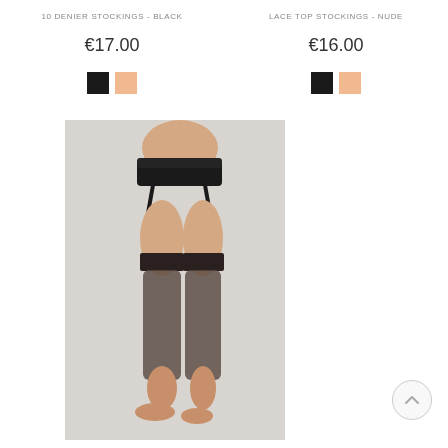10 DENIER STOCKINGS - BLACK
LACE TOP STOCKINGS - NUDE
€17.00
€16.00
[Figure (photo): Model wearing black sheer stockings held up by a black suspender/garter belt, shown from waist to bare feet against a light grey background.]
[Figure (other): Scroll-to-top button (circular arrow icon) in bottom right corner.]